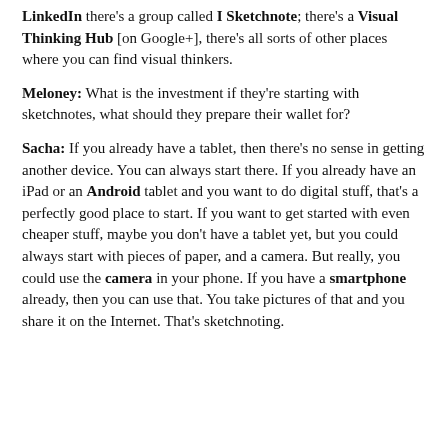LinkedIn there's a group called I Sketchnote; there's a Visual Thinking Hub [on Google+], there's all sorts of other places where you can find visual thinkers.
Meloney: What is the investment if they're starting with sketchnotes, what should they prepare their wallet for?
Sacha: If you already have a tablet, then there's no sense in getting another device. You can always start there. If you already have an iPad or an Android tablet and you want to do digital stuff, that's a perfectly good place to start. If you want to get started with even cheaper stuff, maybe you don't have a tablet yet, but you could always start with pieces of paper, and a camera. But really, you could use the camera in your phone. If you have a smartphone already, then you can use that. You take pictures of that and you share it on the Internet. That's sketchnoting.